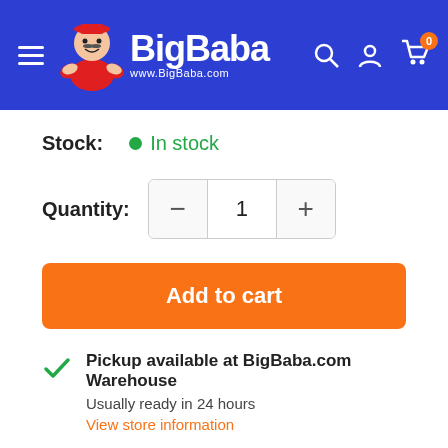BigBaba www.BigBaba.com
Stock: In stock
Quantity: 1
Add to cart
Pickup available at BigBaba.com Warehouse
Usually ready in 24 hours
View store information